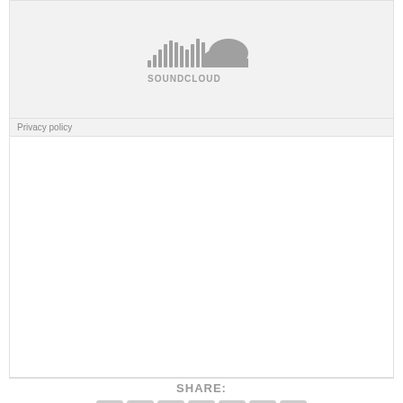[Figure (logo): SoundCloud embed placeholder showing the SoundCloud logo (sound wave bars and cloud shape) in gray on a light gray background, with 'SOUNDCLOUD' text below the logo, and a 'Privacy policy' link at the bottom left]
Privacy policy
SHARE: